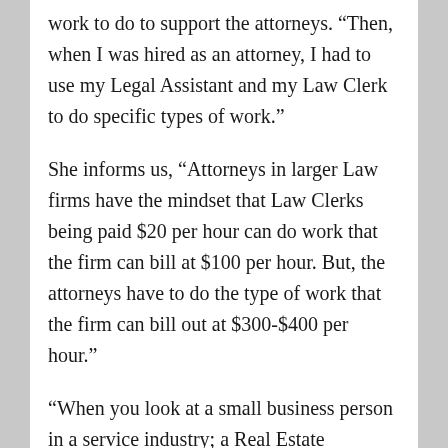work to do to support the attorneys. “Then, when I was hired as an attorney, I had to use my Legal Assistant and my Law Clerk to do specific types of work.”
She informs us, “Attorneys in larger Law firms have the mindset that Law Clerks being paid $20 per hour can do work that the firm can bill at $100 per hour. But, the attorneys have to do the type of work that the firm can bill out at $300-$400 per hour.”
“When you look at a small business person in a service industry; a Real Estate professional, a Financial Advisor, an Attorney, a Chiropractor or whatever – if they’re spending time doing the type of work they can hire somebody else to do